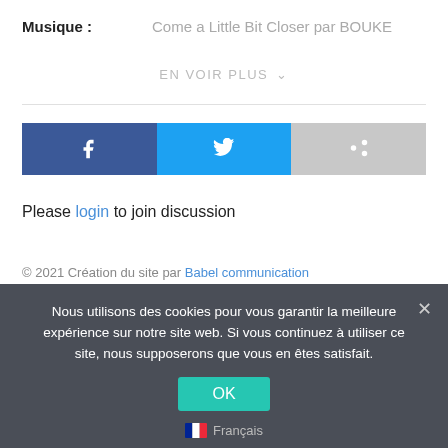Musique :    Come a Little Bit Closer par BOUKE
EN VOIR PLUS
[Figure (other): Three share buttons: Facebook (dark blue with f icon), Twitter (light blue with bird icon), and a generic share button (grey with share icon)]
Please login to join discussion
© 2021 Création du site par Babel communication
Nous utilisons des cookies pour vous garantir la meilleure expérience sur notre site web. Si vous continuez à utiliser ce site, nous supposerons que vous en êtes satisfait.
OK
Français